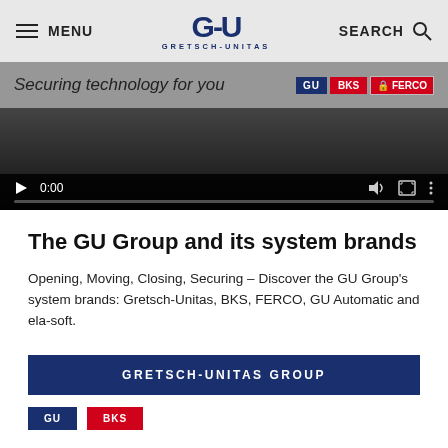MENU | GU GRETSCH-UNITAS | SEARCH
[Figure (screenshot): Video player showing tagline 'Securing technology for you' with GU, BKS, FERCO brand logos at top right, dark video frame with playback controls (play button, 0:00 timecode, volume and fullscreen icons) and progress bar at bottom.]
The GU Group and its system brands
Opening, Moving, Closing, Securing – Discover the GU Group's system brands: Gretsch-Unitas, BKS, FERCO, GU Automatic and ela-soft.
GRETSCH-UNITAS GROUP